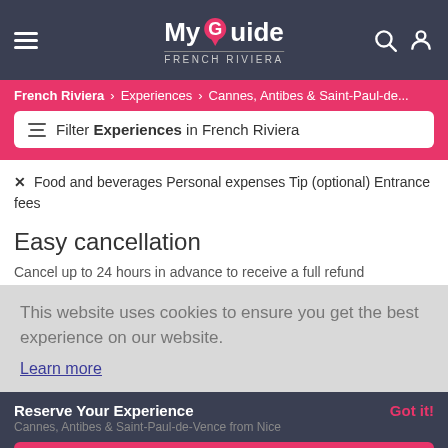My Guide FRENCH RIVIERA
French Riviera > Experiences > Cannes, Antibes & Saint-Paul-de...
Filter Experiences in French Riviera
✗ Food and beverages Personal expenses Tip (optional) Entrance fees
Easy cancellation
Cancel up to 24 hours in advance to receive a full refund
This website uses cookies to ensure you get the best experience on our website.
Learn more
Reserve Your Experience
Cannes, Antibes & Saint-Paul-de-Vence from Nice
BOOK NOW